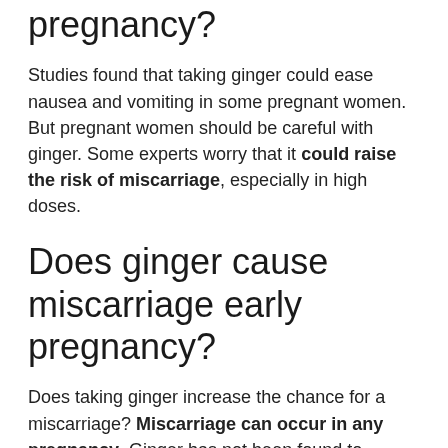pregnancy?
Studies found that taking ginger could ease nausea and vomiting in some pregnant women. But pregnant women should be careful with ginger. Some experts worry that it could raise the risk of miscarriage, especially in high doses.
Does ginger cause miscarriage early pregnancy?
Does taking ginger increase the chance for a miscarriage? Miscarriage can occur in any pregnancy. Ginger has not been found to increase the chance of miscarriage or